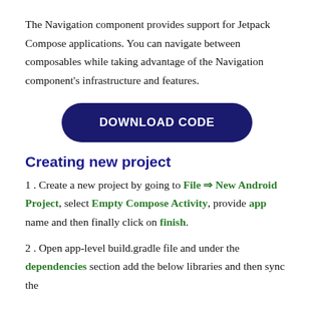The Navigation component provides support for Jetpack Compose applications. You can navigate between composables while taking advantage of the Navigation component's infrastructure and features.
[Figure (other): Dark navy blue rounded rectangle button with white bold text reading DOWNLOAD CODE]
Creating new project
1 . Create a new project by going to File ⇒ New Android Project, select Empty Compose Activity, provide app name and then finally click on finish.
2 . Open app-level build.gradle file and under the dependencies section add the below libraries and then sync the